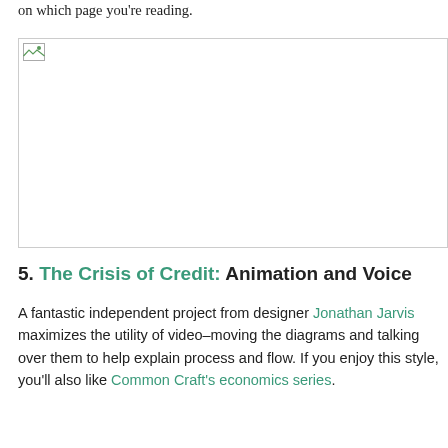on which page you're reading.
[Figure (photo): Broken/placeholder image icon with border — image content not loaded]
5. The Crisis of Credit: Animation and Voice
A fantastic independent project from designer Jonathan Jarvis maximizes the utility of video–moving the diagrams and talking over them to help explain process and flow. If you enjoy this style, you'll also like Common Craft's economics series.